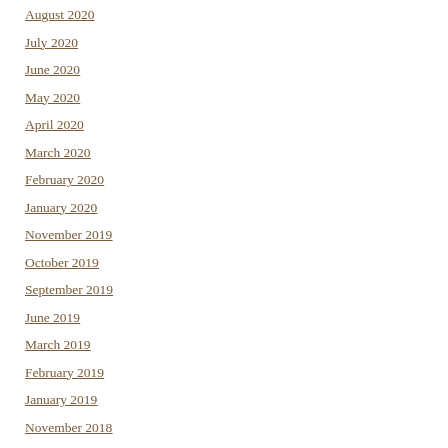August 2020
July 2020
June 2020
May 2020
April 2020
March 2020
February 2020
January 2020
November 2019
October 2019
September 2019
June 2019
March 2019
February 2019
January 2019
November 2018
October 2018
September 2018
April 2018